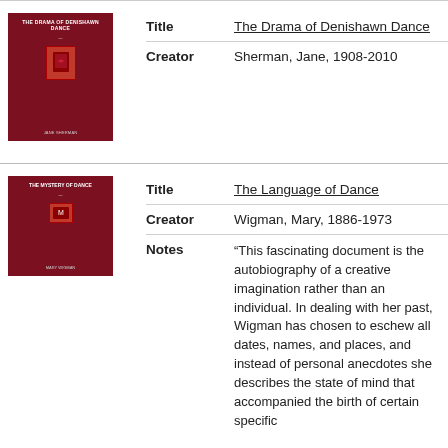[Figure (illustration): Book cover thumbnail: dark red/maroon cover with white text reading 'The Drama of Denishawn Dance' and a small decorative icon]
| Title | The Drama of Denishawn Dance |
| Creator | Sherman, Jane, 1908-2010 |
[Figure (illustration): Book cover thumbnail: dark red/maroon cover with white text reading 'The Language of Dance' and a small decorative icon]
| Title | The Language of Dance |
| Creator | Wigman, Mary, 1886-1973 |
| Notes | “This fascinating document is the autobiography of a creative imagination rather than an individual. In dealing with her past, Wigman has chosen to eschew all dates, names, and places, and instead of personal anecdotes she describes the state of mind that accompanied the birth of certain specific |